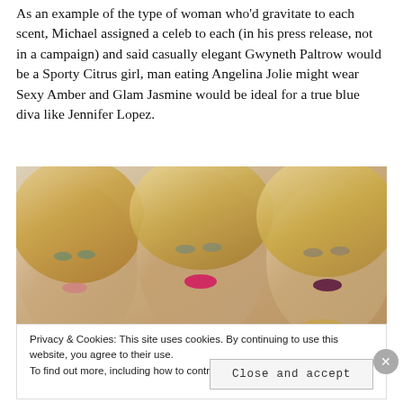As an example of the type of woman who'd gravitate to each scent, Michael assigned a celeb to each (in his press release, not in a campaign) and said casually elegant Gwyneth Paltrow would be a Sporty Citrus girl, man eating Angelina Jolie might wear Sexy Amber and Glam Jasmine would be ideal for a true blue diva like Jennifer Lopez.
[Figure (photo): Three blonde female models posed together, wearing glamorous makeup including bold lip colors]
Privacy & Cookies: This site uses cookies. By continuing to use this website, you agree to their use.
To find out more, including how to control cookies, see here: Cookie Policy
Close and accept